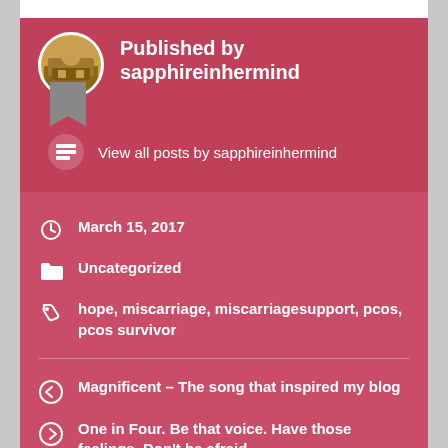Published by sapphireinhermind
View all posts by sapphireinhermind
March 15, 2017
Uncategorized
hope, miscarriage, miscarriagesupport, pcos, pcos survivor
Magnificent – The song that inspired my blog
One in Four. Be that voice. Have those feelings. Don't be afraid.